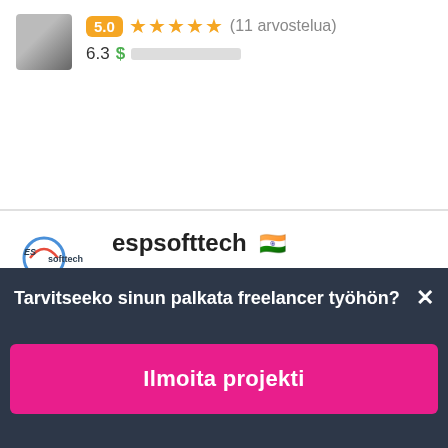[Figure (photo): Partial profile photo of a person, cropped at top]
5.0 ★★★★★ (11 arvostelua)
6.3 $ [progress bar indicator]
[Figure (logo): espsofttech company logo]
espsofttech 🇮🇳
$2500 USD 15 päivässä
4.9 ★★★★★ (33 arvostelua)
6.6 $ [progress bar indicator]
Tarvitseeko sinun palkata freelancer työhön?
Ilmoita projekti